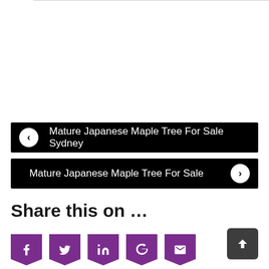Mature Japanese Maple Tree For Sale Sydney
Mature Japanese Maple Tree For Sale
Share this on …
[Figure (other): Social share buttons: Facebook, Twitter, LinkedIn, Google+, Email]